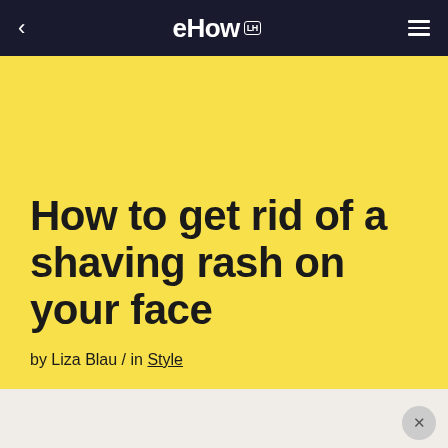eHow
How to get rid of a shaving rash on your face
by Liza Blau / in Style